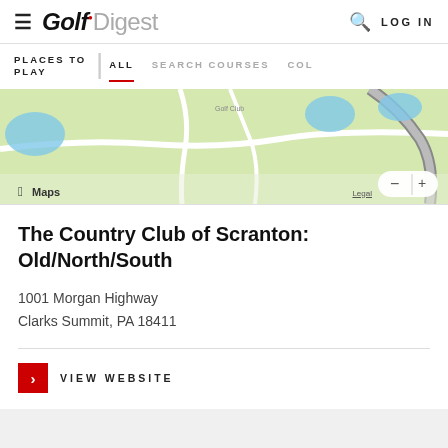Golf Digest
PLACES TO PLAY | ALL  SEARCH COURSES  COL
[Figure (map): Apple Maps view showing golf course area near Clarks Summit, PA with green terrain, roads, and water features. Includes zoom controls and Legal link.]
The Country Club of Scranton: Old/North/South
1001 Morgan Highway
Clarks Summit, PA 18411
VIEW WEBSITE